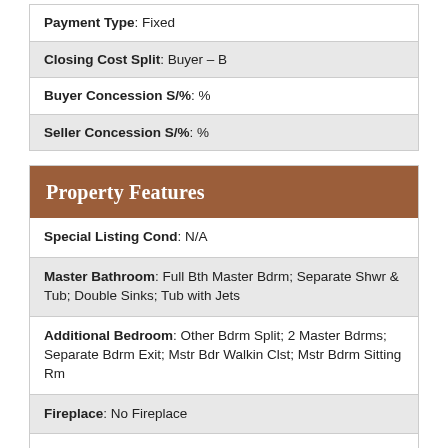| Payment Type: Fixed |
| Closing Cost Split: Buyer – B |
| Buyer Concession S/%: % |
| Seller Concession S/%: % |
Property Features
| Special Listing Cond: N/A |
| Master Bathroom: Full Bth Master Bdrm; Separate Shwr & Tub; Double Sinks; Tub with Jets |
| Additional Bedroom: Other Bdrm Split; 2 Master Bdrms; Separate Bdrm Exit; Mstr Bdr Walkin Clst; Mstr Bdrm Sitting Rm |
| Fireplace: No Fireplace |
| Flooring: Carpet; Tile |